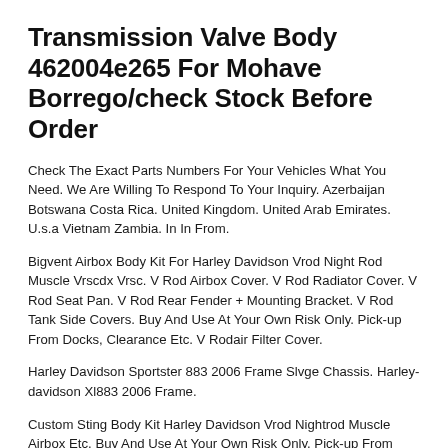Transmission Valve Body 462004e265 For Mohave Borrego/check Stock Before Order
Check The Exact Parts Numbers For Your Vehicles What You Need. We Are Willing To Respond To Your Inquiry. Azerbaijan Botswana Costa Rica. United Kingdom. United Arab Emirates. U.s.a Vietnam Zambia. In In From.
Bigvent Airbox Body Kit For Harley Davidson Vrod Night Rod Muscle Vrscdx Vrsc. V Rod Airbox Cover. V Rod Radiator Cover. V Rod Seat Pan. V Rod Rear Fender + Mounting Bracket. V Rod Tank Side Covers. Buy And Use At Your Own Risk Only. Pick-up From Docks, Clearance Etc. V Rodair Filter Cover.
Harley Davidson Sportster 883 2006 Frame Slvge Chassis. Harley-davidson Xl883 2006 Frame.
Custom Sting Body Kit Harley Davidson Vrod Nightrod Muscle Airbox Etc. Buy And Use At Your Own Risk Only. Pick-up From Docks, Clearance Etc. It Can Range From 0% To 150% Or More Of The Total Cost Depending On The Country. We Have Given All Information In Capital Letters For Ease Of Reading.